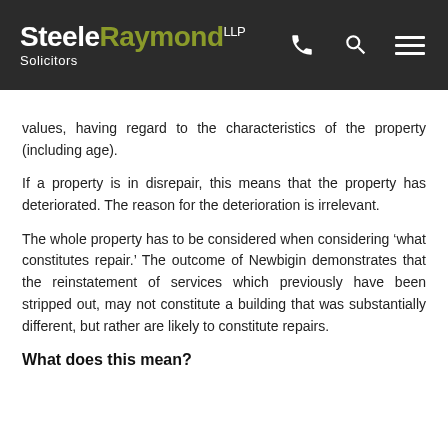SteeleRaymond LLP Solicitors
values, having regard to the characteristics of the property (including age).
If a property is in disrepair, this means that the property has deteriorated. The reason for the deterioration is irrelevant.
The whole property has to be considered when considering ‘what constitutes repair.’ The outcome of Newbigin demonstrates that the reinstatement of services which previously have been stripped out, may not constitute a building that was substantially different, but rather are likely to constitute repairs.
What does this mean?